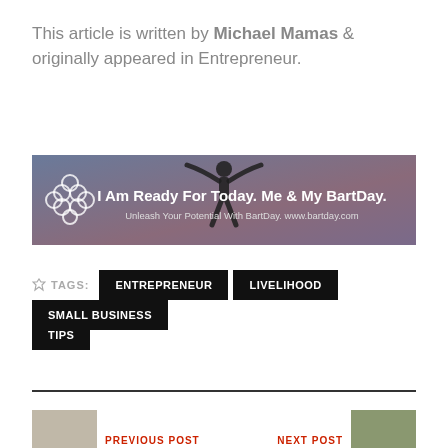This article is written by Michael Mamas & originally appeared in Entrepreneur.
[Figure (illustration): BartDay advertisement banner with logo circles and silhouette figure with arms raised. Text: 'I Am Ready For Today. Me & My BartDay.' and 'Unleash Your Potential With BartDay. www.bartday.com']
TAGS: ENTREPRENEUR  LIVELIHOOD  SMALL BUSINESS  TIPS
PREVIOUS POST    NEXT POST